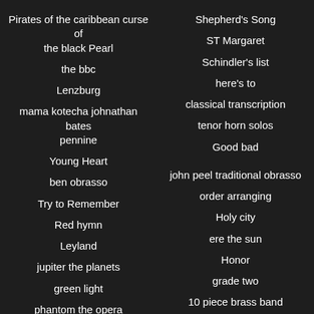Pirates of the caribbean curse of the black Pearl
Shepherd's Song
the bbc
ST Margaret
Lenzburg
Schindler's list
mama kotecha johnathan bates pennine
here's to
Young Heart
classical transcription
ben obrasso
tenor horn solos
Try to Remember
Good bad
Red hymn
john peel traditional obrasso
Leyland
order arranging
jupiter the planets
Holy city
green light
ere the sun
phantom the opera
Honor
SINFonietta no. 3
grade two
scoring and
10 piece brass band